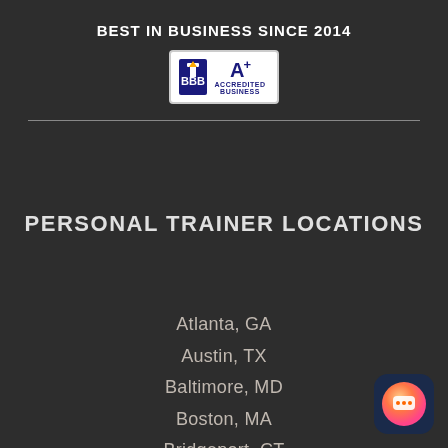BEST IN BUSINESS SINCE 2014
[Figure (logo): BBB A+ Accredited Business badge with torch logo]
PERSONAL TRAINER LOCATIONS
Atlanta, GA
Austin, TX
Baltimore, MD
Boston, MA
Bridgeport, CT
Chicago, IL
[Figure (illustration): Orange-to-pink gradient chat button icon in bottom right corner]